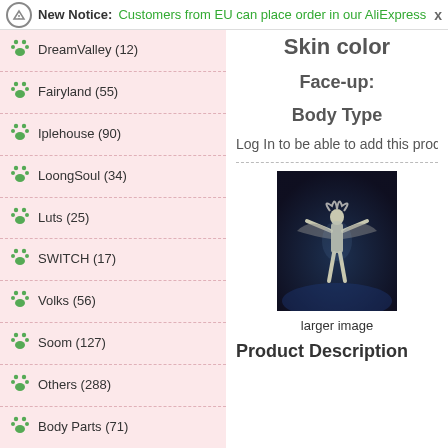New Notice: Customers from EU can place order in our AliExpress  X
DreamValley (12)
Fairyland (55)
Iplehouse (90)
LoongSoul (34)
Luts (25)
SWITCH (17)
Volks (56)
Soom (127)
Others (288)
Body Parts (71)
BJD head (11)
BJD wig (39)
BJD Clothes (73)
handmade eyes (18)
New Products ...
Skin color
Face-up:
Body Type
Log In to be able to add this product to your W
[Figure (photo): A BJD doll figure in fantasy/dark style against a blue background]
larger image
Product Description